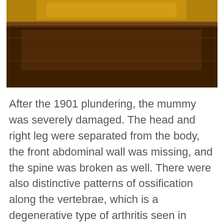[Figure (photo): A photograph of a mummy lying in what appears to be a wooden sarcophagus or display case. The mummy is wrapped in orange/yellow linen, and the wooden case is dark brown. The image is cropped showing primarily the midsection and lower portion of the mummy and its container.]
After the 1901 plundering, the mummy was severely damaged. The head and right leg were separated from the body, the front abdominal wall was missing, and the spine was broken as well. There were also distinctive patterns of ossification along the vertebrae, which is a degenerative type of arthritis seen in people aged 60 years and older. His skin was covered in raised nodules, which were also found on the mummies of Thutmose II and Thutmose III. This could have been from disease or by a reaction of the embalming materials with the